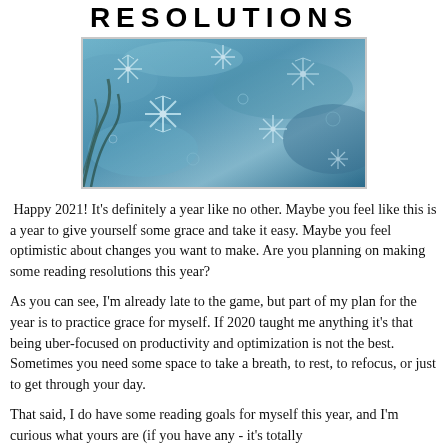RESOLUTIONS
[Figure (photo): Close-up macro photograph of snowflakes on a blue-tinted icy surface]
Happy 2021! It's definitely a year like no other. Maybe you feel like this is a year to give yourself some grace and take it easy. Maybe you feel optimistic about changes you want to make. Are you planning on making some reading resolutions this year?
As you can see, I'm already late to the game, but part of my plan for the year is to practice grace for myself. If 2020 taught me anything it's that being uber-focused on productivity and optimization is not the best. Sometimes you need some space to take a breath, to rest, to refocus, or just to get through your day.
That said, I do have some reading goals for myself this year, and I'm curious what yours are (if you have any - it's totally